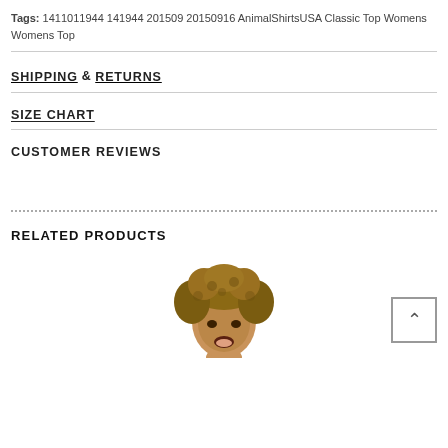Tags: 1411011944 141944 201509 20150916 AnimalShirtsUSA Classic Top Womens Womens Top
SHIPPING & RETURNS
SIZE CHART
CUSTOMER REVIEWS
RELATED PRODUCTS
[Figure (photo): Bottom portion of page showing a woman's head with short curly brown hair, cropped at the top of the image, related products section preview.]